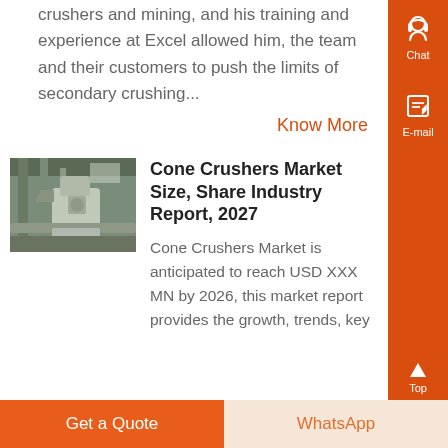crushers and mining, and his training and experience at Excel allowed him, the team and their customers to push the limits of secondary crushing...
Know More
[Figure (photo): Industrial cone crusher machinery inside a factory/plant building]
Cone Crushers Market Size, Share Industry Report, 2027
Cone Crushers Market is anticipated to reach USD XXX MN by 2026, this market report provides the growth, trends, key players of the market...
Get a Quote
WhatsApp